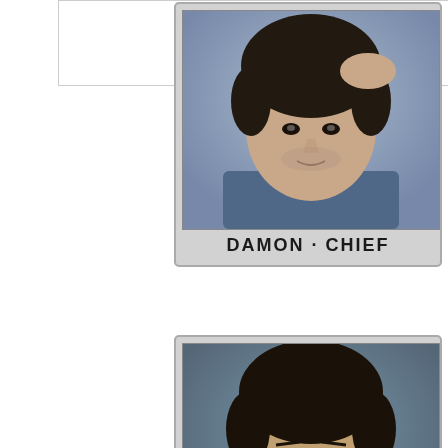edit
[Figure (photo): Character card for Damon - Chief, showing a man with dark hair running his hand through it, wearing a blue shirt. Label reads DAMON · CHIEF]
[Figure (photo): Character card for Marko - Air, showing a young man with dark hair, serious expression. Label reads MARKO · AIR]
[Figure (photo): Character card for Quinn - Air, showing a woman with red hair smiling slightly. Label reads QUINN · AIR]
[Figure (photo): Partial character card at bottom, partially cut off]